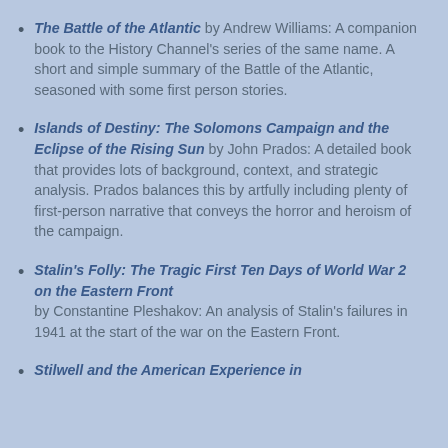The Battle of the Atlantic by Andrew Williams: A companion book to the History Channel's series of the same name. A short and simple summary of the Battle of the Atlantic, seasoned with some first person stories.
Islands of Destiny: The Solomons Campaign and the Eclipse of the Rising Sun by John Prados: A detailed book that provides lots of background, context, and strategic analysis. Prados balances this by artfully including plenty of first-person narrative that conveys the horror and heroism of the campaign.
Stalin's Folly: The Tragic First Ten Days of World War 2 on the Eastern Front by Constantine Pleshakov: An analysis of Stalin's failures in 1941 at the start of the war on the Eastern Front.
Stilwell and the American Experience in